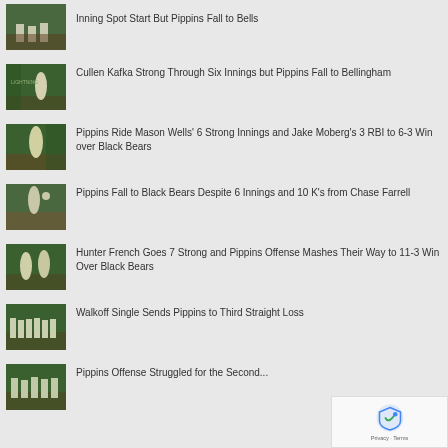Inning Spot Start But Pippins Fall to Bells
[Figure (photo): Baseball players on green field]
Cullen Kafka Strong Through Six Innings but Pippins Fall to Bellingham
[Figure (photo): Baseball player running bases on green field]
Pippins Ride Mason Wells' 6 Strong Innings and Jake Moberg's 3 RBI to 6-3 Win over Black Bears
[Figure (photo): Baseball pitcher on mound]
Pippins Fall to Black Bears Despite 6 Innings and 10 K's from Chase Farrell
[Figure (photo): Baseball pitcher throwing]
Hunter French Goes 7 Strong and Pippins Offense Mashes Their Way to 11-3 Win Over Black Bears
[Figure (photo): Baseball players celebrating]
Walkoff Single Sends Pippins to Third Straight Loss
[Figure (photo): Baseball team lineup at field]
Pippins Offense Struggled for the Second...